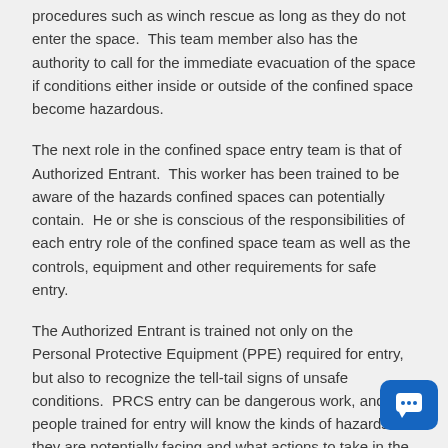procedures such as winch rescue as long as they do not enter the space.  This team member also has the authority to call for the immediate evacuation of the space if conditions either inside or outside of the confined space become hazardous.
The next role in the confined space entry team is that of Authorized Entrant.  This worker has been trained to be aware of the hazards confined spaces can potentially contain.  He or she is conscious of the responsibilities of each entry role of the confined space team as well as the controls, equipment and other requirements for safe entry.
The Authorized Entrant is trained not only on the Personal Protective Equipment (PPE) required for entry, but also to recognize the tell-tail signs of unsafe conditions.  PRCS entry can be dangerous work, and the people trained for entry will know the kinds of hazards they are potentially facing and what actions to take in the event of emergency.
The final person in a confined space team is the Confined Space Supervisor.  This is typically the person who knows the most